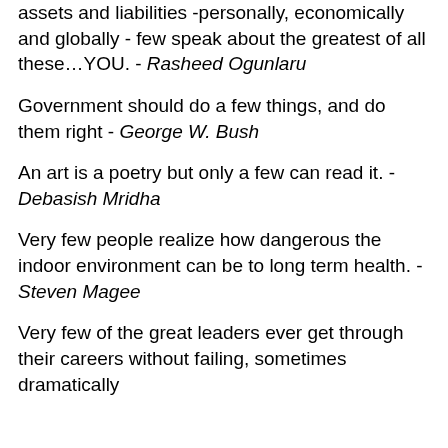assets and liabilities -personally, economically and globally - few speak about the greatest of all these…YOU. - Rasheed Ogunlaru
Government should do a few things, and do them right - George W. Bush
An art is a poetry but only a few can read it. - Debasish Mridha
Very few people realize how dangerous the indoor environment can be to long term health. - Steven Magee
Very few of the great leaders ever get through their careers without failing, sometimes dramatically